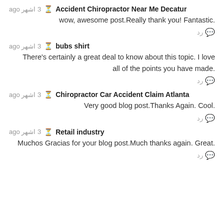Accident Chiropractor Near Me Decatur · 3 اشهر ago
wow, awesome post.Really thank you! Fantastic.
رد
bubs shirt · 3 اشهر ago
There's certainly a great deal to know about this topic. I love all of the points you have made.
رد
Chiropractor Car Accident Claim Atlanta · 3 اشهر ago
Very good blog post.Thanks Again. Cool.
رد
Retail industry · 3 اشهر ago
Muchos Gracias for your blog post.Much thanks again. Great.
رد